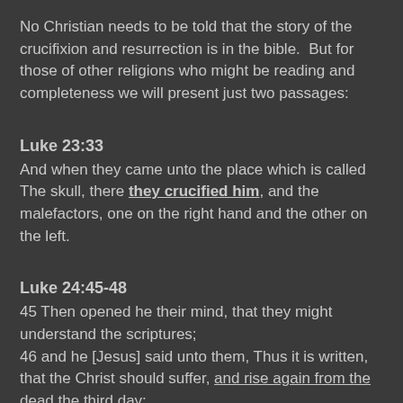No Christian needs to be told that the story of the crucifixion and resurrection is in the bible.  But for those of other religions who might be reading and completeness we will present just two passages:
Luke 23:33
And when they came unto the place which is called The skull, there they crucified him, and the malefactors, one on the right hand and the other on the left.
Luke 24:45-48
45 Then opened he their mind, that they might understand the scriptures;
46 and he [Jesus] said unto them, Thus it is written, that the Christ should suffer, and rise again from the dead the third day;
47 and that repentance and remission of sins should be preached in his name unto all the